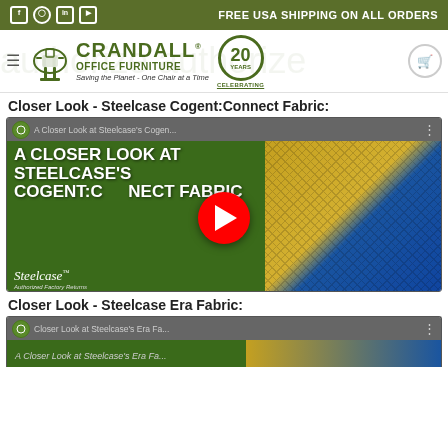FREE USA SHIPPING ON ALL ORDERS
[Figure (logo): Crandall Office Furniture logo with chair icon, 20 Years Celebrating badge]
Closer Look - Steelcase Cogent:Connect Fabric:
[Figure (screenshot): YouTube video thumbnail: A Closer Look at Steelcase's Cogent:Connect Fabric with play button]
Closer Look - Steelcase Era Fabric:
[Figure (screenshot): YouTube video thumbnail: Closer Look at Steelcase's Era Fabric (partially visible)]